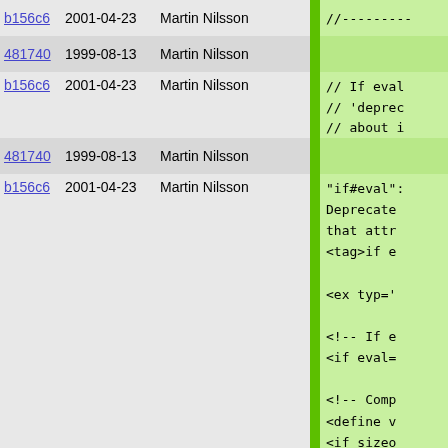| hash | date | author |  | code |
| --- | --- | --- | --- | --- |
| b156c6 | 2001-04-23 | Martin Nilsson |  | //--------- |
| 481740 | 1999-08-13 | Martin Nilsson |  |  |
| b156c6 | 2001-04-23 | Martin Nilsson |  | // If eval
// 'deprec
// about i |
| 481740 | 1999-08-13 | Martin Nilsson |  |  |
| b156c6 | 2001-04-23 | Martin Nilsson |  | "if#eval":
Deprecate
that attr
<tag>if e

<ex typ='

<!-- If e
<if eval=

<!-- Comp
<define v
<if sizeo
</ex>
<p>A simi
<tag>defi
</p></desc

"if#exists
Returns t
with /, i |